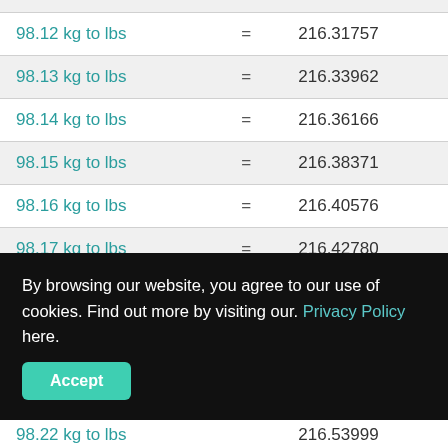| Conversion | = | Value |
| --- | --- | --- |
| 98.12 kg to lbs | = | 216.31757 |
| 98.13 kg to lbs | = | 216.33962 |
| 98.14 kg to lbs | = | 216.36166 |
| 98.15 kg to lbs | = | 216.38371 |
| 98.16 kg to lbs | = | 216.40576 |
| 98.17 kg to lbs | = | 216.42780 |
| 98.18 kg to lbs | = | 216.44985 |
By browsing our website, you agree to our use of cookies. Find out more by visiting our. Privacy Policy here.